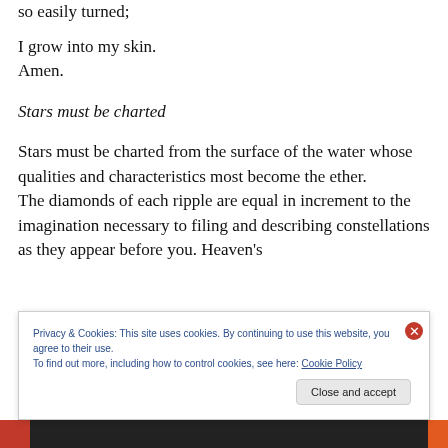so easily turned;
I grow into my skin.
Amen.
Stars must be charted
Stars must be charted from the surface of the water whose qualities and characteristics most become the ether.
The diamonds of each ripple are equal in increment to the imagination necessary to filing and describing constellations as they appear before you. Heaven's
Privacy & Cookies: This site uses cookies. By continuing to use this website, you agree to their use.
To find out more, including how to control cookies, see here: Cookie Policy